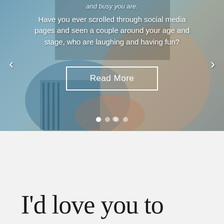[Figure (photo): A couple embracing and laughing shown in a slider/carousel with navigation arrows, overlay text, a 'Read More' button, and dot indicators. The background shows a couple in casual clothing with a ring visible on one hand.]
Have you ever scrolled through social media pages and seen a couple around your age and stage, who are laughing and having fun?
Read More
I'd love you to